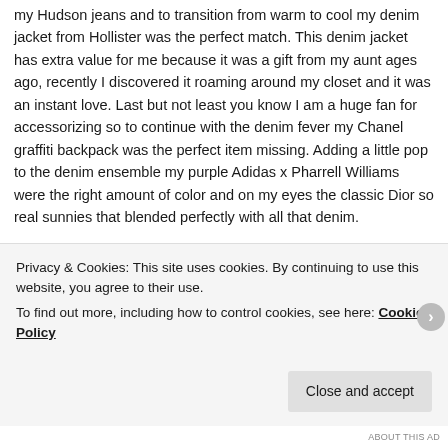my Hudson jeans and to transition from warm to cool my denim jacket from Hollister was the perfect match. This denim jacket has extra value for me because it was a gift from my aunt ages ago, recently I discovered it roaming around my closet and it was an instant love. Last but not least you know I am a huge fan for accessorizing so to continue with the denim fever my Chanel graffiti backpack was the perfect item missing. Adding a little pop to the denim ensemble my purple Adidas x Pharrell Williams were the right amount of color and on my eyes the classic Dior so real sunnies that blended perfectly with all that denim.
Check out my awesome friends Igee Okafor and McLavin [continues below]
Privacy & Cookies: This site uses cookies. By continuing to use this website, you agree to their use.
To find out more, including how to control cookies, see here: Cookie Policy